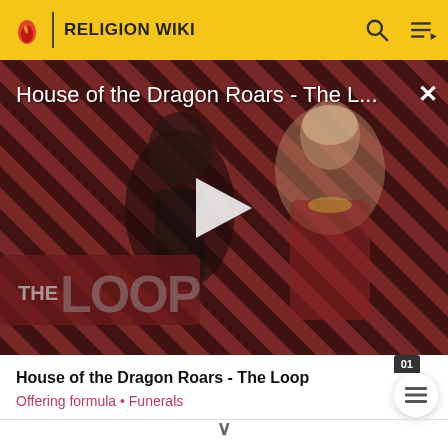RELIGION WIKI
[Figure (screenshot): Video thumbnail for 'House of the Dragon Roars - The Loop' showing two characters from the show against a red and black diagonal striped background with 'THE LOOP' logo and a play button overlay]
House of the Dragon Roars - The Loop
Offering formula • Funerals